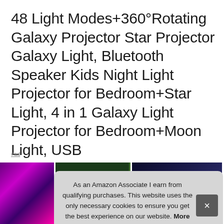48 Light Modes+360°Rotating Galaxy Projector Star Projector Galaxy Light, Bluetooth Speaker Kids Night Light Projector for Bedroom+Star Light, 4 in 1 Galaxy Light Projector for Bedroom+Moon Light, USB
#ad
[Figure (photo): Product images strip showing galaxy projector in use with colorful lighting effects]
As an Amazon Associate I earn from qualifying purchases. This website uses the only necessary cookies to ensure you get the best experience on our website. More information